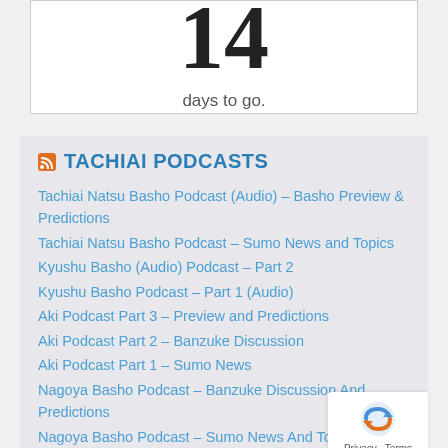14
days to go.
TACHIAI PODCASTS
Tachiai Natsu Basho Podcast (Audio) – Basho Preview & Predictions
Tachiai Natsu Basho Podcast – Sumo News and Topics
Kyushu Basho (Audio) Podcast – Part 2
Kyushu Basho Podcast – Part 1 (Audio)
Aki Podcast Part 3 – Preview and Predictions
Aki Podcast Part 2 – Banzuke Discussion
Aki Podcast Part 1 – Sumo News
Nagoya Basho Podcast – Banzuke Discussion And Predictions
Nagoya Basho Podcast – Sumo News And Topics